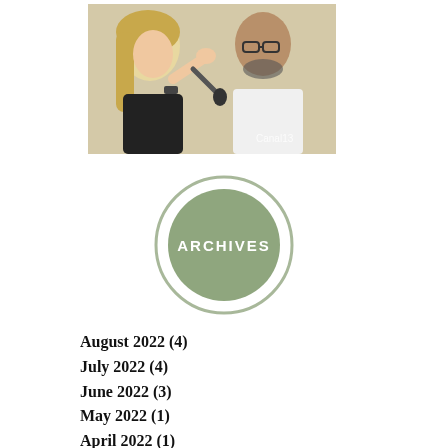[Figure (photo): A woman with blonde hair holding a microphone interviews a bald man with a beard and glasses wearing a white shirt. A 'Canal13' watermark appears in the lower right of the image.]
[Figure (other): Circular badge with sage green filled center circle and lighter green ring border, containing the text 'ARCHIVES' in white uppercase letters.]
August 2022 (4)
July 2022 (4)
June 2022 (3)
May 2022 (1)
April 2022 (1)
March 2022 (1)
February 2022 (1)